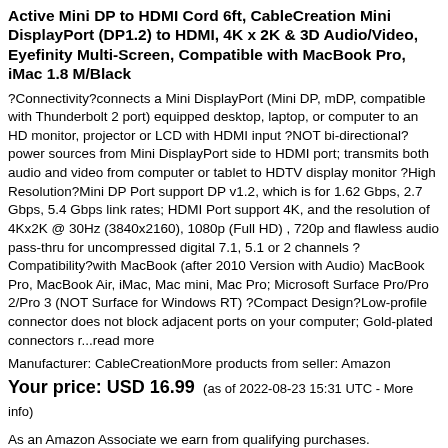Active Mini DP to HDMI Cord 6ft, CableCreation Mini DisplayPort (DP1.2) to HDMI, 4K x 2K & 3D Audio/Video, Eyefinity Multi-Screen, Compatible with MacBook Pro, iMac 1.8 M/Black
?Connectivity?connects a Mini DisplayPort (Mini DP, mDP, compatible with Thunderbolt 2 port) equipped desktop, laptop, or computer to an HD monitor, projector or LCD with HDMI input ?NOT bi-directional? power sources from Mini DisplayPort side to HDMI port; transmits both audio and video from computer or tablet to HDTV display monitor ?High Resolution?Mini DP Port support DP v1.2, which is for 1.62 Gbps, 2.7 Gbps, 5.4 Gbps link rates; HDMI Port support 4K, and the resolution of 4Kx2K @ 30Hz (3840x2160), 1080p (Full HD) , 720p and flawless audio pass-thru for uncompressed digital 7.1, 5.1 or 2 channels ?Compatibility?with MacBook (after 2010 Version with Audio) MacBook Pro, MacBook Air, iMac, Mac mini, Mac Pro; Microsoft Surface Pro/Pro 2/Pro 3 (NOT Surface for Windows RT) ?Compact Design?Low-profile connector does not block adjacent ports on your computer; Gold-plated connectors r...read more
Manufacturer: CableCreationMore products from seller: Amazon
Your price: USD 16.99  (as of 2022-08-23 15:31 UTC - More info)
As an Amazon Associate we earn from qualifying purchases.
Note: Prices are subject to change at anytime
[Figure (other): Orange 'Click here to buy at Amazon' button with shopping cart icon]